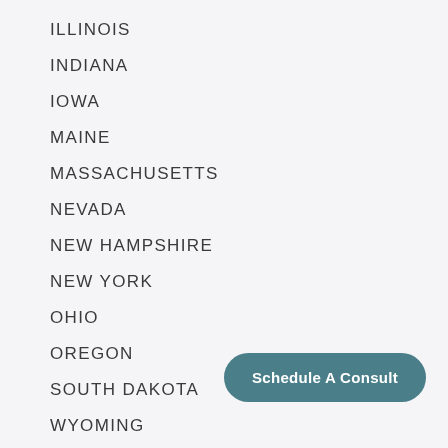ILLINOIS
INDIANA
IOWA
MAINE
MASSACHUSETTS
NEVADA
NEW HAMPSHIRE
NEW YORK
OHIO
OREGON
SOUTH DAKOTA
WYOMING
Schedule A Consult